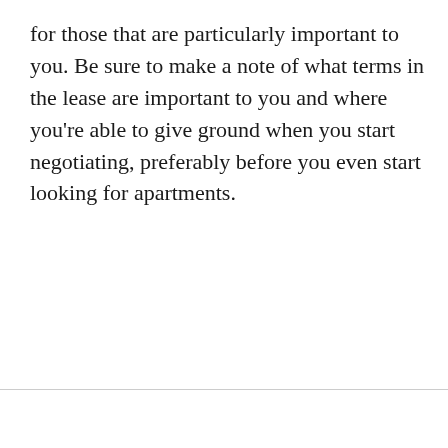for those that are particularly important to you. Be sure to make a note of what terms in the lease are important to you and where you're able to give ground when you start negotiating, preferably before you even start looking for apartments.